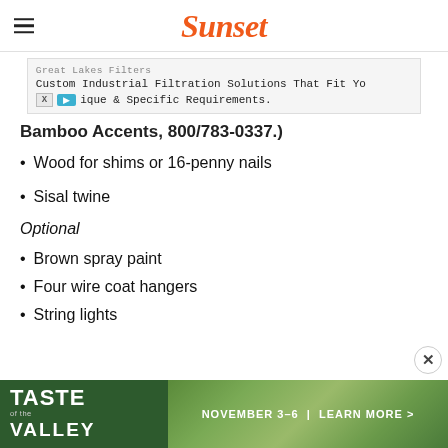Sunset
[Figure (screenshot): Advertisement banner: Great Lakes Filters - Custom Industrial Filtration Solutions That Fit Yo... ique & Specific Requirements.]
Bamboo Accents, 800/783-0337.)
Wood for shims or 16-penny nails
Sisal twine
Optional
Brown spray paint
Four wire coat hangers
String lights
[Figure (screenshot): Advertisement footer banner: Taste of the Valley - November 3-6 | Learn More >]